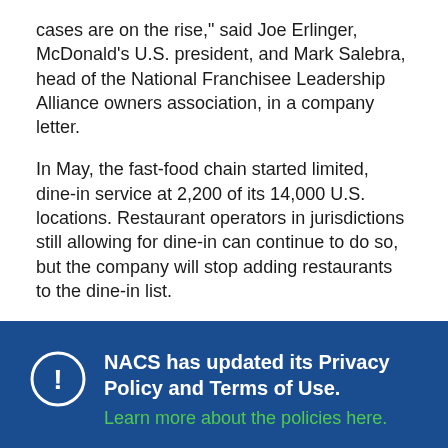cases are on the rise," said Joe Erlinger, McDonald's U.S. president, and Mark Salebra, head of the National Franchisee Leadership Alliance owners association, in a company letter.
In May, the fast-food chain started limited, dine-in service at 2,200 of its 14,000 U.S. locations. Restaurant operators in jurisdictions still allowing for dine-in can continue to do so, but the company will stop adding restaurants to the dine-in list.
NACS has updated its Privacy Policy and Terms of Use. Learn more about the policies here.
I Accept